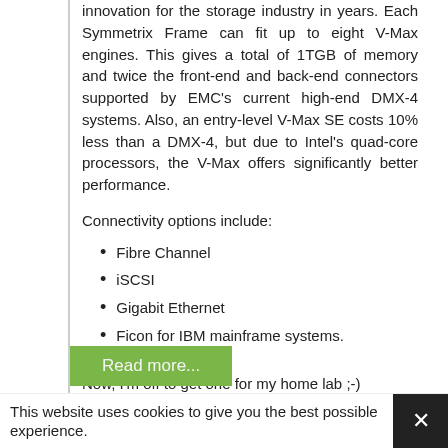innovation for the storage industry in years. Each Symmetrix Frame can fit up to eight V-Max engines. This gives a total of 1TGB of memory and twice the front-end and back-end connectors supported by EMC's current high-end DMX-4 systems. Also, an entry-level V-Max SE costs 10% less than a DMX-4, but due to Intel's quad-core processors, the V-Max offers significantly better performance.
Connectivity options include:
Fibre Channel
iSCSI
Gigabit Ethernet
Ficon for IBM mainframe systems.
Now, I'm off to get one for my home lab ;-)
Read more...
This website uses cookies to give you the best possible experience.